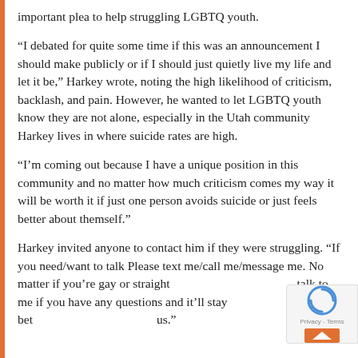important plea to help struggling LGBTQ youth.
“I debated for quite some time if this was an announcement I should make publicly or if I should just quietly live my life and let it be,” Harkey wrote, noting the high likelihood of criticism, backlash, and pain. However, he wanted to let LGBTQ youth know they are not alone, especially in the Utah community Harkey lives in where suicide rates are high.
“I’m coming out because I have a unique position in this community and no matter how much criticism comes my way it will be worth it if just one person avoids suicide or just feels better about themself.”
Harkey invited anyone to contact him if they were struggling. “If you need/want to talk Please text me/call me/message me. No matter if you’re gay or straight talk to me if you have any questions and it’ll stay bet us.”